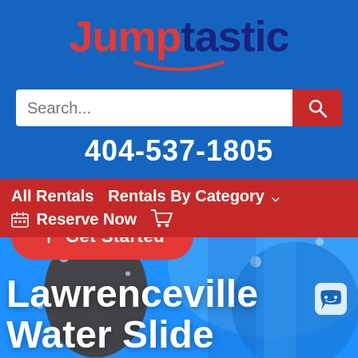Jumptastic
Search...
404-537-1805
All Rentals  Rentals By Category ▾  Reserve Now  🛒
[Figure (photo): Child playing on a blue water slide with water splashing, outdoor summer scene]
Lawrenceville Water Slide
Get Started